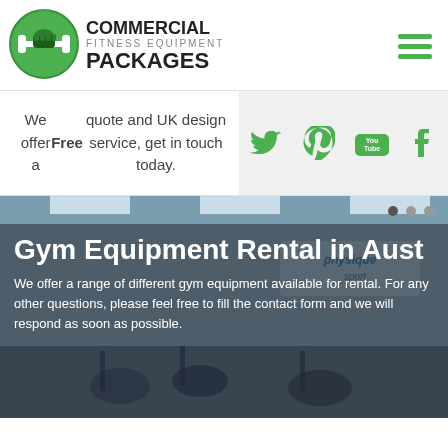[Figure (logo): Commercial Fitness Equipment Packages logo with green dumbbell icon]
We offer a Free quote and UK design service, get in touch today.
[Figure (infographic): Social media icons: Twitter, Pinterest, YouTube, Tumblr in green]
Gym Equipment Rental in Aust
We offer a range of different gym equipment available for rental. For any other questions, please feel free to fill the contact form and we will respond as soon as possible.